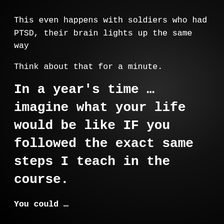This even happens with soldiers who had PTSD, their brain lights up the same way
Think about that for a minute.
In a year's time … imagine what your life would be like IF you followed the exact same steps I teach in the course.
You could …